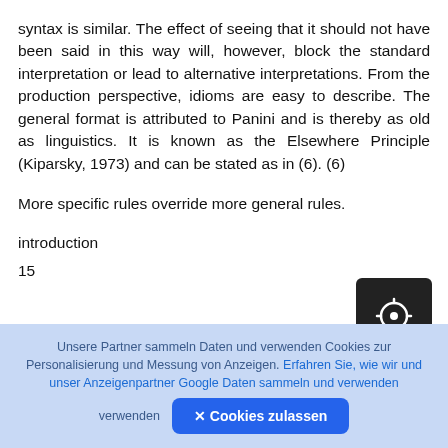syntax is similar. The effect of seeing that it should not have been said in this way will, however, block the standard interpretation or lead to alternative interpretations. From the production perspective, idioms are easy to describe. The general format is attributed to Panini and is thereby as old as linguistics. It is known as the Elsewhere Principle (Kiparsky, 1973) and can be stated as in (6). (6)
More specific rules override more general rules.
introduction
15
Unsere Partner sammeln Daten und verwenden Cookies zur Personalisierung und Messung von Anzeigen. Erfahren Sie, wie wir und unser Anzeigenpartner Google Daten sammeln und verwenden